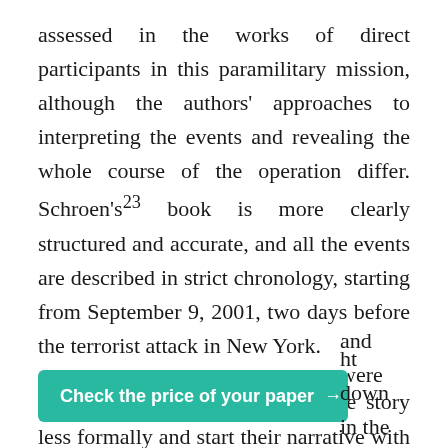assessed in the works of direct participants in this paramilitary mission, although the authors' approaches to interpreting the events and revealing the whole course of the operation differ. Schroen's²³ book is more clearly structured and accurate, and all the events are described in strict chronology, starting from September 9, 2001, two days before the terrorist attack in New York.
Berntsen and Pezzullo²⁴ begin the story less formally and start their narrative with open dialogues, which resembles an artistic rather than a documentary style of presentation. However, despite the differences in the style of writing, the course of the operation is described similarly since the aforementioned authors and were ht down in the
Check the price of your paper →